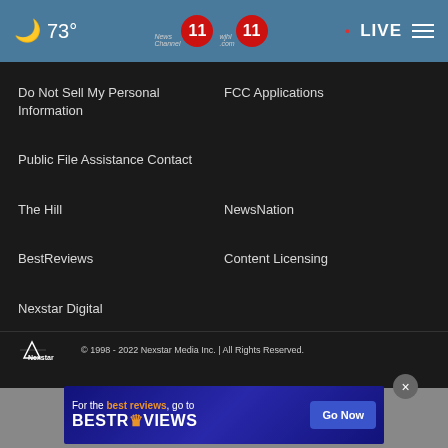73° LIVE — News Channel 11 WJHL
Do Not Sell My Personal Information
FCC Applications
Public File Assistance Contact
The Hill
NewsNation
BestReviews
Content Licensing
Nexstar Digital
© 1998 - 2022 Nexstar Media Inc. | All Rights Reserved.
[Figure (infographic): BestReviews advertisement banner: 'For the best reviews, go to BESTREVIEWS' with a Go Now button]